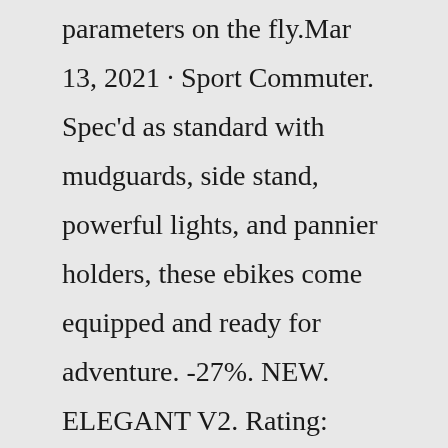parameters on the fly.Mar 13, 2021 · Sport Commuter. Spec'd as standard with mudguards, side stand, powerful lights, and pannier holders, these ebikes come equipped and ready for adventure. -27%. NEW. ELEGANT V2. Rating: C$2,199.00. C$2,999.00. YOU SAVE 27%. The RadRover is priced at $1,499 with free shipping (lower 48 states) and they have Some of the highlights of this eFat bike are a 750 watt geared rear hub motor, large 48V